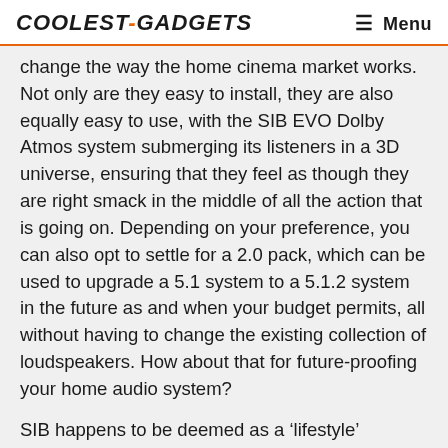COOLEST-GADGETS  ☰ Menu
change the way the home cinema market works. Not only are they easy to install, they are also equally easy to use, with the SIB EVO Dolby Atmos system submerging its listeners in a 3D universe, ensuring that they feel as though they are right smack in the middle of all the action that is going on. Depending on your preference, you can also opt to settle for a 2.0 pack, which can be used to upgrade a 5.1 system to a 5.1.2 system in the future as and when your budget permits, all without having to change the existing collection of loudspeakers. How about that for future-proofing your home audio system?
SIB happens to be deemed as a ‘lifestyle’